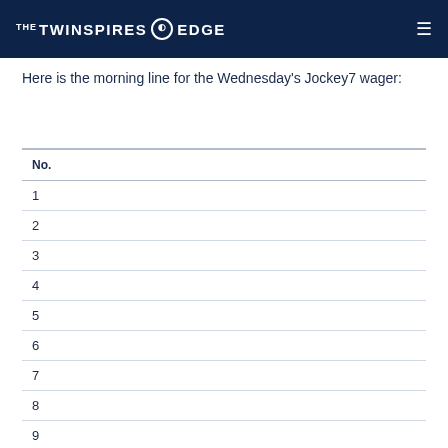THE TWINSPIRES EDGE
Here is the morning line for the Wednesday's Jockey7 wager:
| No. |
| --- |
| 1 |
| 2 |
| 3 |
| 4 |
| 5 |
| 6 |
| 7 |
| 8 |
| 9 |
| 10 |
| 11 |
| 12 |